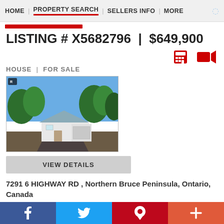HOME | PROPERTY SEARCH | SELLERS INFO | MORE
LISTING # X5682796  |  $649,900
HOUSE  |  FOR SALE
[Figure (photo): Exterior photo of a house with a metal roof and garage, surrounded by trees]
VIEW DETAILS
7291 6 HIGHWAY RD , Northern Bruce Peninsula, Ontario, Canada
Great Opportunity Within Walking Distance Of Downtown Tobermory. Imagine Life A Different Way. So
f  t  p  +